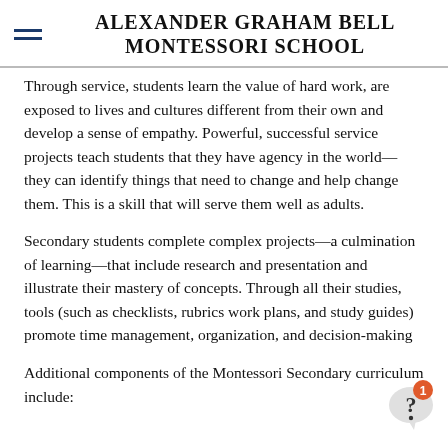ALEXANDER GRAHAM BELL MONTESSORI SCHOOL
Through service, students learn the value of hard work, are exposed to lives and cultures different from their own and develop a sense of empathy. Powerful, successful service projects teach students that they have agency in the world— they can identify things that need to change and help change them. This is a skill that will serve them well as adults.
Secondary students complete complex projects—a culmination of learning—that include research and presentation and illustrate their mastery of concepts. Through all their studies, tools (such as checklists, rubrics work plans, and study guides) promote time management, organization, and decision-making
Additional components of the Montessori Secondary curriculum include: